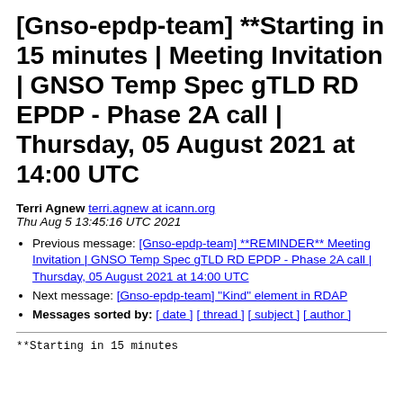[Gnso-epdp-team] **Starting in 15 minutes | Meeting Invitation | GNSO Temp Spec gTLD RD EPDP - Phase 2A call | Thursday, 05 August 2021 at 14:00 UTC
Terri Agnew terri.agnew at icann.org
Thu Aug 5 13:45:16 UTC 2021
Previous message: [Gnso-epdp-team] **REMINDER** Meeting Invitation | GNSO Temp Spec gTLD RD EPDP - Phase 2A call | Thursday, 05 August 2021 at 14:00 UTC
Next message: [Gnso-epdp-team] "Kind" element in RDAP
Messages sorted by: [ date ] [ thread ] [ subject ] [ author ]
**Starting in 15 minutes